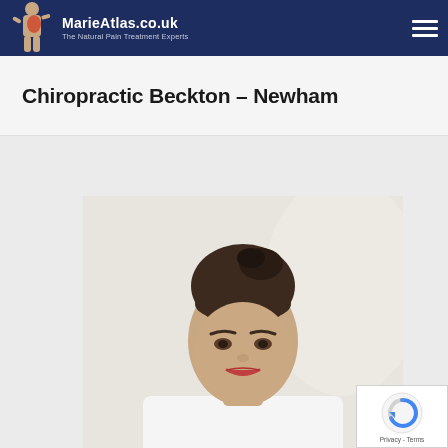MarieAtlas.co.uk – The Natural Pain Treatment Experts
Chiropractic Beckton – Newham
[Figure (photo): Professional headshot of a woman with brown hair in an updo bun, wearing a white top, looking at the camera with a slight smile, in a clinical/professional setting with light background.]
[Figure (logo): Google reCAPTCHA badge with circular arrow icon and 'Privacy - Terms' text]